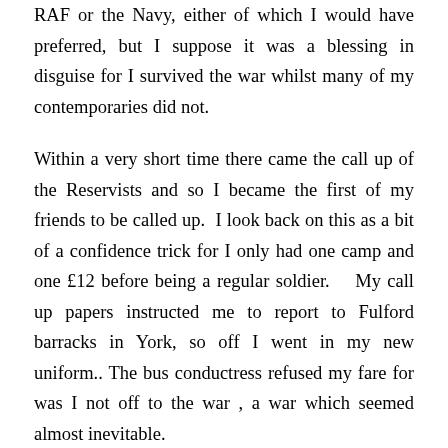RAF or the Navy, either of which I would have preferred, but I suppose it was a blessing in disguise for I survived the war whilst many of my contemporaries did not.
Within a very short time there came the call up of the Reservists and so I became the first of my friends to be called up.  I look back on this as a bit of a confidence trick for I only had one camp and one £12 before being a regular soldier.    My call up papers instructed me to report to Fulford barracks in York, so off I went in my new uniform.. The bus conductress refused my fare for was I not off to the war , a war which seemed almost inevitable.
I arrived at York, one of the first to arrive and was sent off to Fulford Barracks where having registered I was directed to